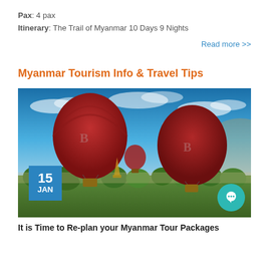Pax: 4 pax
Itinerary: The Trail of Myanmar 10 Days 9 Nights
Read more >>
Myanmar Tourism Info & Travel Tips
[Figure (photo): Aerial photo of hot air balloons with logo 'B' flying over green landscape with pagodas at sunrise/sunset with blue cloudy sky]
It is Time to Re-plan your Myanmar Tour Packages